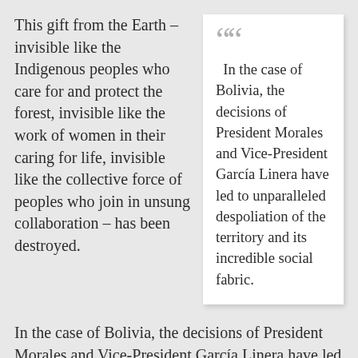This gift from the Earth – invisible like the Indigenous peoples who care for and protect the forest, invisible like the work of women in their caring for life, invisible like the collective force of peoples who join in unsung collaboration – has been destroyed.
In the case of Bolivia, the decisions of President Morales and Vice-President García Linera have led to unparalleled despoliation of the territory and its incredible social fabric.
In the case of Bolivia, the decisions of President Morales and Vice-President García Linera have led to unparalleled despoliation of the territory and its incredible social fabric. Their wager on ethanol, their permissiveness regarding